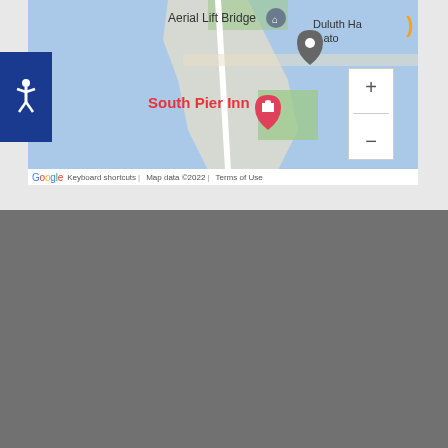[Figure (map): Google Maps screenshot showing Duluth area with Aerial Lift Bridge marker, South Pier Inn label in pink, zoom controls (+/-), and map attribution showing 'Google', 'Keyboard shortcuts', 'Map data ©2022', 'Terms of Use'. Blue water area visible with road/pier features.]
Quick Links
Agency Partnership
Get Insurance Quotes
Insurance Agency Locations